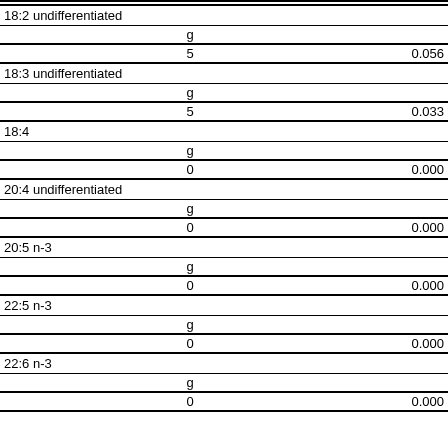| Nutrient | Unit | Value |
| --- | --- | --- |
| 18:2 undifferentiated |  |  |
|  | g |  |
|  | 5 | 0.056 |
| 18:3 undifferentiated |  |  |
|  | g |  |
|  | 5 | 0.033 |
| 18:4 |  |  |
|  | g |  |
|  | 0 | 0.000 |
| 20:4 undifferentiated |  |  |
|  | g |  |
|  | 0 | 0.000 |
| 20:5 n-3 |  |  |
|  | g |  |
|  | 0 | 0.000 |
| 22:5 n-3 |  |  |
|  | g |  |
|  | 0 | 0.000 |
| 22:6 n-3 |  |  |
|  | g |  |
|  | 0 | 0.000 |